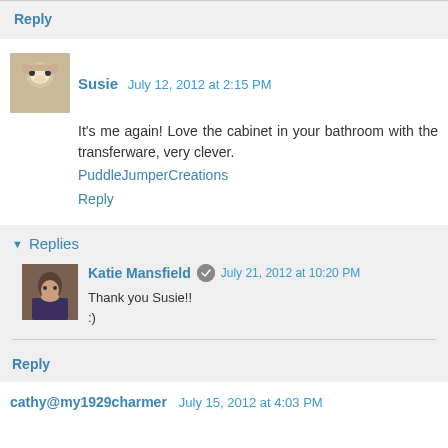Reply
Susie  July 12, 2012 at 2:15 PM
It's me again! Love the cabinet in your bathroom with the transferware, very clever.
PuddleJumperCreations
Reply
Replies
Katie Mansfield  July 21, 2012 at 10:20 PM
Thank you Susie!!
:)
Reply
cathy@my1929charmer  July 15, 2012 at 4:03 PM